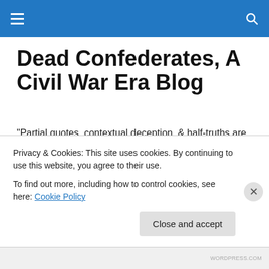Dead Confederates, A Civil War Era Blog — navigation bar
Dead Confederates, A Civil War Era Blog
"Partial quotes, contextual deception, & half-truths are like pot-holes on the path of knowledge."– Civil War Talk user Bee, March 28, 2016
“At Freedom’s Door” by Cooper Wingart
Privacy & Cookies: This site uses cookies. By continuing to use this website, you agree to their use.
To find out more, including how to control cookies, see here: Cookie Policy
Close and accept